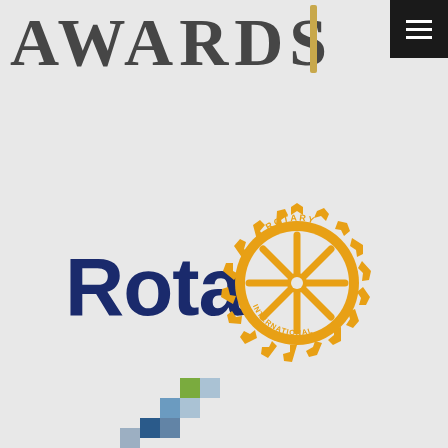[Figure (logo): Partial 'AWARDS' text in dark serif font at top left, with a golden trophy/award figurine partially visible]
[Figure (other): Black navigation menu button with three horizontal white lines (hamburger menu) in top right corner]
[Figure (logo): Rotary International logo: 'Rotary' in bold dark navy blue text on the left, and the Rotary International gear/cogwheel emblem in golden yellow on the right, with 'ROTARY' at top and 'INTERNATIONAL' at bottom of the wheel]
[Figure (logo): Partial logo at bottom center with colorful pixel/square mosaic pattern in blue, green, and gray squares arranged in a staircase pattern]